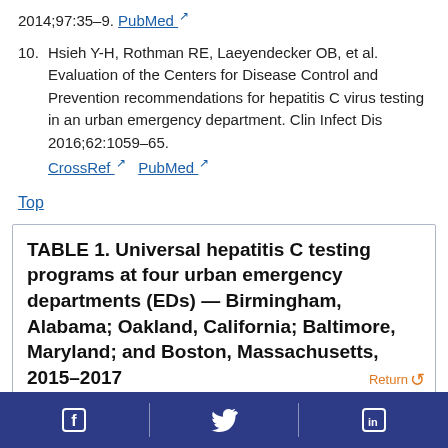2014;97:35–9. PubMed
10. Hsieh Y-H, Rothman RE, Laeyendecker OB, et al. Evaluation of the Centers for Disease Control and Prevention recommendations for hepatitis C virus testing in an urban emergency department. Clin Infect Dis 2016;62:1059–65. CrossRef PubMed
Top
TABLE 1. Universal hepatitis C testing programs at four urban emergency departments (EDs) — Birmingham, Alabama; Oakland, California; Baltimore, Maryland; and Boston, Massachusetts, 2015–2017
Social media links: Facebook, Twitter, LinkedIn